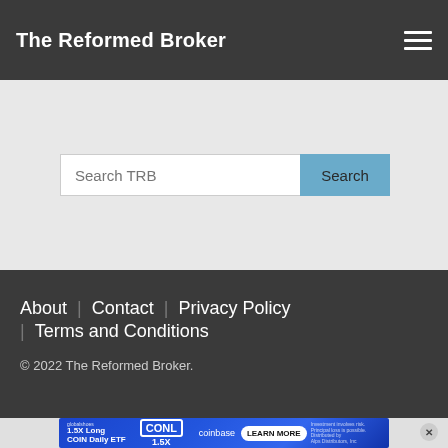The Reformed Broker
[Figure (screenshot): Search bar with placeholder text 'Search TRB' and a blue 'Search' button on a light grey background]
About | Contact | Privacy Policy | Terms and Conditions
© 2022 The Reformed Broker.
[Figure (screenshot): Advertisement banner: '1.5X Long COIN Daily ETF' with CONL and coinbase logos, LEARN MORE button]